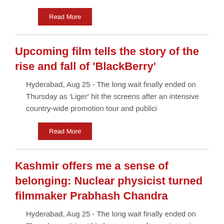Read More
Upcoming film tells the story of the rise and fall of 'BlackBerry'
Hyderabad, Aug 25 - The long wait finally ended on Thursday as 'Liger' hit the screens after an intensive country-wide promotion tour and publici
Read More
Kashmir offers me a sense of belonging: Nuclear physicist turned filmmaker Prabhash Chandra
Hyderabad, Aug 25 - The long wait finally ended on Thursday as 'Liger' hit the screens after an intensive